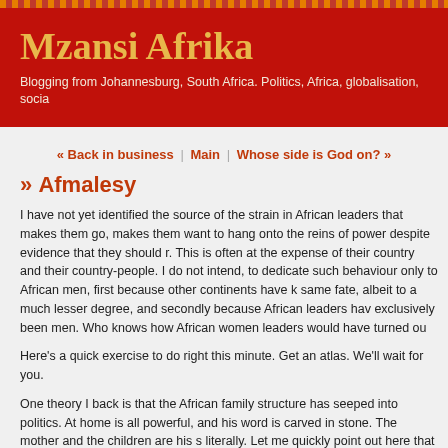Mzansi Afrika
Blogging from Johannesburg, South Africa. Politics, Africa, globalisation, socia
« Back in business | Main | Whose side is God on? »
» Afmalesy
I have not yet identified the source of the strain in African leaders that makes them go, makes them want to hang onto the reins of power despite evidence that they should r. This is often at the expense of their country and their country-people. I do not intend, to dedicate such behaviour only to African men, first because other continents have k same fate, albeit to a much lesser degree, and secondly because African leaders hav exclusively been men. Who knows how African women leaders would have turned ou
Here's a quick exercise to do right this minute. Get an atlas. We'll wait for you.
One theory I back is that the African family structure has seeped into politics. At home is all powerful, and his word is carved in stone. The mother and the children are his s literally. Let me quickly point out here that I in no way intend to dedicate this patholog African male leaders only. The Afrikaner has it, too, although not of the same origin. H with religious overtures, whereas the black African male's has a traditional bent. But, woman is treated not in a better way by the Afrikaner, and that fact shows in the way politics.
Got that atlas now? Ok, open it to a political map of Africa. Shut your eyes. Place a fi